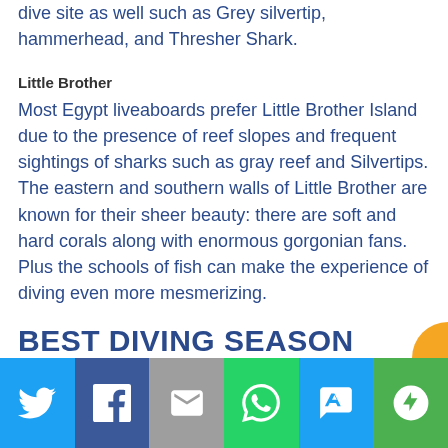dive site as well such as Grey silvertip, hammerhead, and Thresher Shark.
Little Brother
Most Egypt liveaboards prefer Little Brother Island due to the presence of reef slopes and frequent sightings of sharks such as gray reef and Silvertips. The eastern and southern walls of Little Brother are known for their sheer beauty: there are soft and hard corals along with enormous gorgonian fans. Plus the schools of fish can make the experience of diving even more mesmerizing.
BEST DIVING SEASON
[Figure (infographic): Social sharing bar with Twitter, Facebook, Email, WhatsApp, SMS, and More buttons in colored blocks at the bottom of the page]